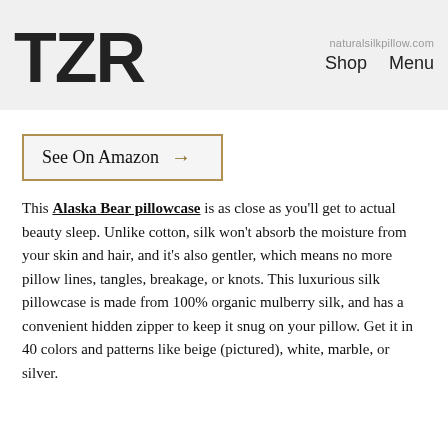TZR | naturalsilkpillow.com | Shop | Menu
See On Amazon →
This Alaska Bear pillowcase is as close as you'll get to actual beauty sleep. Unlike cotton, silk won't absorb the moisture from your skin and hair, and it's also gentler, which means no more pillow lines, tangles, breakage, or knots. This luxurious silk pillowcase is made from 100% organic mulberry silk, and has a convenient hidden zipper to keep it snug on your pillow. Get it in 40 colors and patterns like beige (pictured), white, marble, or silver.